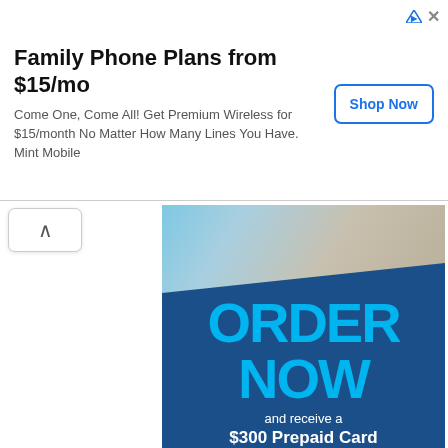[Figure (screenshot): Ad banner for Mint Mobile: 'Family Phone Plans from $15/mo - Come One, Come All! Get Premium Wireless for $15/month No Matter How Many Lines You Have. Mint Mobile' with Shop Now button]
[Figure (infographic): Promotional ad image with photo of person on laptop, blue background with 'ORDER NOW and receive a $300 Prepaid Card via rebate.* *Offer ends 8/31/22. Exclusions apply.' and orange $300 PREPAID CARD button at bottom]